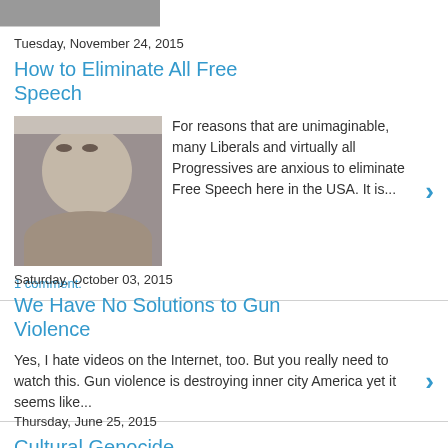[Figure (photo): Partial thumbnail image at top of page]
Tuesday, November 24, 2015
How to Eliminate All Free Speech
[Figure (photo): Photo of a young woman with a headband]
For reasons that are unimaginable, many Liberals and virtually all Progressives are anxious to eliminate Free Speech here in the USA.  It is...
1 comment:
Saturday, October 03, 2015
We Have No Solutions to Gun Violence
Yes, I hate videos on the Internet, too. But you really need to watch this.  Gun violence is destroying inner city America yet it seems like...
Thursday, June 25, 2015
Cultural Genocide